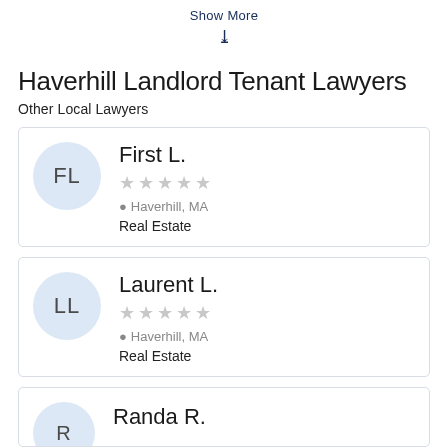Show More
Haverhill Landlord Tenant Lawyers
Other Local Lawyers
First L.
☆☆☆☆☆
Haverhill, MA
Real Estate
Laurent L.
☆☆☆☆☆
Haverhill, MA
Real Estate
Randa R.